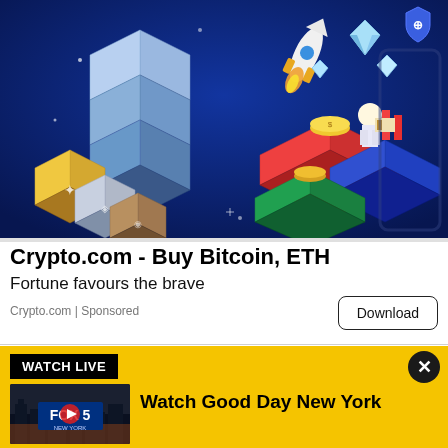[Figure (illustration): Crypto.com advertisement banner showing a dark blue background with illustrated 3D crypto/finance themed icons: stacked cube blocks, a rocket, diamonds, coins, chart bars, and financial platforms. A Crypto.com logo shield is in the top right corner.]
Crypto.com - Buy Bitcoin, ETH
Fortune favours the brave
Crypto.com | Sponsored
[Figure (screenshot): Yellow 'Watch Live' banner for Fox 5 New York. Contains a black 'WATCH LIVE' badge, a Fox 5 New York thumbnail with a play button, and the text 'Watch Good Day New York' in bold black. A close (X) button is in the top right.]